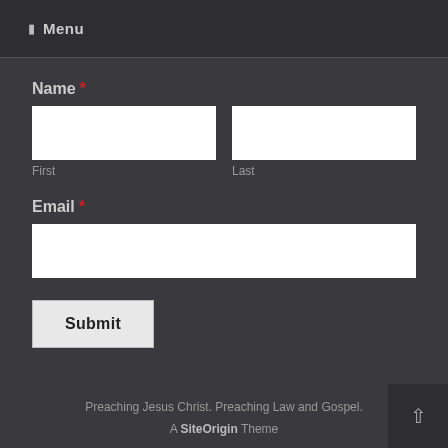☰ Menu
Name *
First
Last
Email *
Submit
Preaching Jesus Christ. Preaching Law and Gospel.
A SiteOrigin Theme